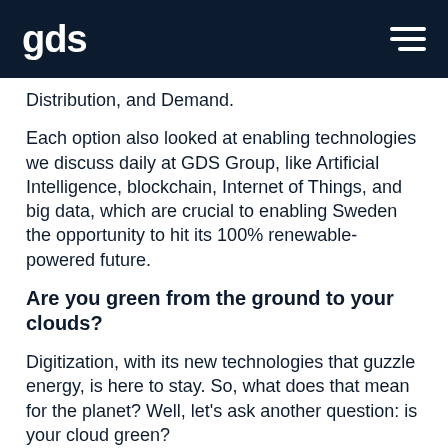gds
Distribution, and Demand.
Each option also looked at enabling technologies we discuss daily at GDS Group, like Artificial Intelligence, blockchain, Internet of Things, and big data, which are crucial to enabling Sweden the opportunity to hit its 100% renewable-powered future.
Are you green from the ground to your clouds?
Digitization, with its new technologies that guzzle energy, is here to stay. So, what does that mean for the planet? Well, let's ask another question: is your cloud green?
A Wired report card on the top three cloud providers